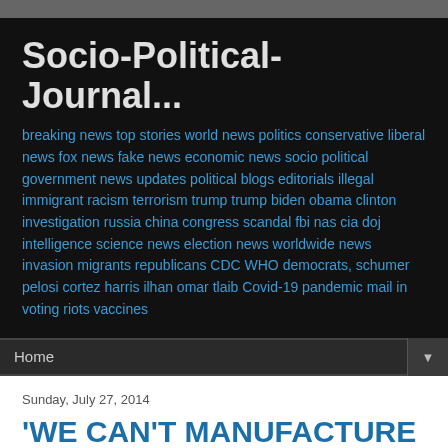Socio-Political-Journal...
breaking news top stories world news politics conservative liberal news fox news fake news economic news socio political government news updates political blogs editorials illegal immigrant racism terrorism trump trump biden obama clinton investigation russia china congress scandal fbi nas cia doj intelligence science news election news worldwide news invasion migrants republicans CDC WHO democrats, schumer pelosi cortez harris ilhan omar tlaib Covid-19 pandemic mail in voting riots vaccines
Home
Sunday, July 27, 2014
'WE CAN'T MANUFACTURE UTOPIA'